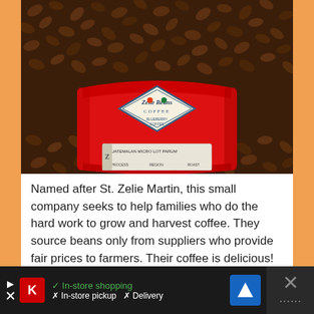[Figure (photo): A red coffee bag labeled 'Zelie Beans Coffee' sitting on a bed of dark roasted coffee beans. The bag has a diamond-shaped label with the brand name and additional product information label on the front.]
Named after St. Zelie Martin, this small company seeks to help families who do the hard work to grow and harvest coffee. They source beans only from suppliers who provide fair prices to farmers. Their coffee is delicious!
Use Giftguide2019 to get 20% off any orders